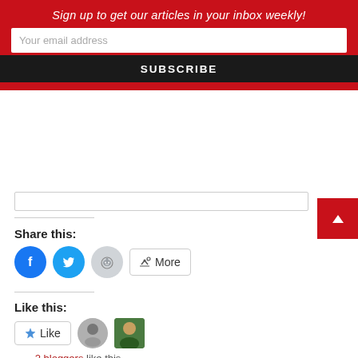Sign up to get our articles in your inbox weekly!
Your email address
SUBSCRIBE
Share this:
[Figure (infographic): Social share buttons: Facebook (blue circle with F), Twitter (blue circle with bird), Reddit (light gray circle with alien), and a More button with share icon]
Like this:
[Figure (infographic): Like button with star icon, two blogger avatar thumbnails, and text '2 bloggers like this.']
Related
[Figure (photo): Two related article thumbnail photos side by side. Left: closeup of a person with red/auburn hair. Right: group photo of several people.]